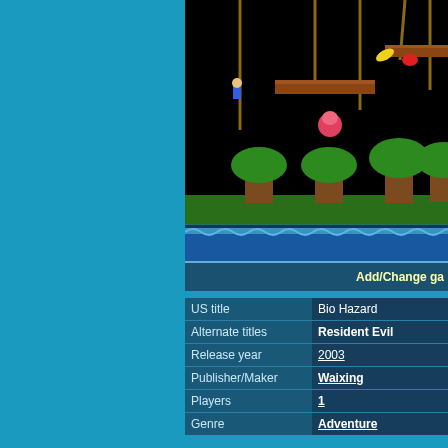[Figure (screenshot): NES-style video game screenshot showing a platformer scene with ropes, platforms, trees, and water at the bottom on black background]
Add/Change ga
| Field | Value |
| --- | --- |
| US title | Bio Hazard |
| Alternate titles | Resident Evil |
| Release year | 2003 |
| Publisher/Maker | Waixing |
| Players | 1 |
| Genre | Adventure |
[Figure (screenshot): Top-down RPG-style game screenshot with a character in a room with doors, crates, and orange floor tiles with symbols]